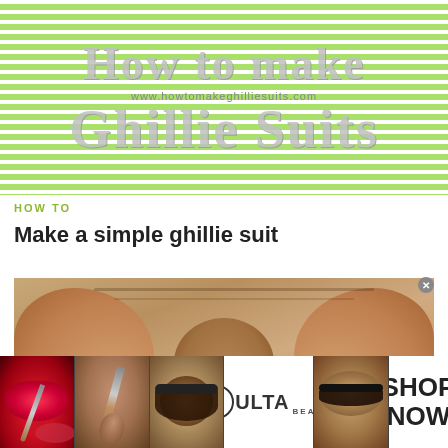[Figure (illustration): Green and white striped banner header with large grey text 'How to make Ghillie Suits' and a small URL watermark]
HOW TO
Make a simple ghillie suit
[Figure (photo): Close-up photo of hands holding or working with fabric/material]
[Figure (photo): Advertisement strip showing beauty product images: lips with brush, makeup brush, eye makeup, ULTA Beauty logo, cat eye makeup, and SHOP NOW text]